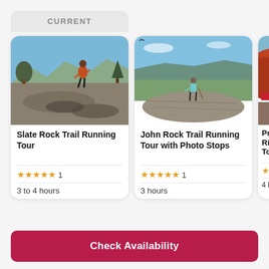CURRENT
[Figure (photo): Trail runner on rocky mountain outcrop with autumn foliage and blue sky]
Slate Rock Trail Running Tour
★★★★★ 1
3 to 4 hours
[Figure (photo): Hiker standing on flat rock overlook above wide valley with blue sky]
John Rock Trail Running Tour with Photo Stops
★★★★★ 1
3 hours
[Figure (photo): Partially visible autumn mountain view]
Priv… Ridg… Tour…
★★
4 ho…
Check Availability